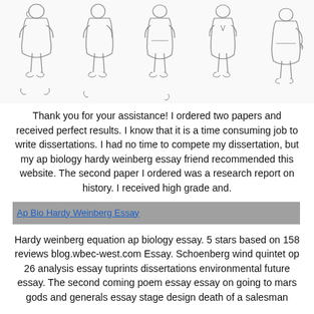[Figure (illustration): Pencil sketch drawings of cartoon-style short rotund figures shown from different angles (front, side, back views), with some hand sketches below.]
Thank you for your assistance! I ordered two papers and received perfect results. I know that it is a time consuming job to write dissertations. I had no time to compete my dissertation, but my ap biology hardy weinberg essay friend recommended this website. The second paper I ordered was a research report on history. I received high grade and.
[Figure (other): Ap Bio Hardy Weinberg Essay - image placeholder shown as gray bar with link text]
Hardy weinberg equation ap biology essay. 5 stars based on 158 reviews blog.wbec-west.com Essay. Schoenberg wind quintet op 26 analysis essay tuprints dissertations environmental future essay. The second coming poem essay essay on going to mars gods and generals essay stage design death of a salesman